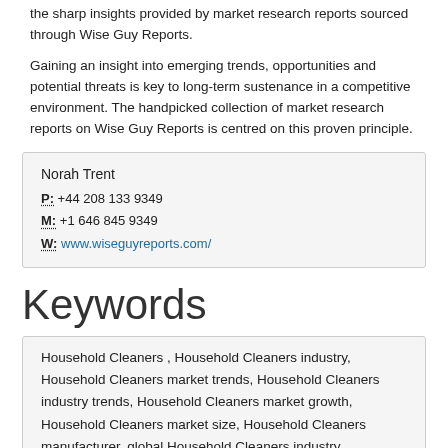the sharp insights provided by market research reports sourced through Wise Guy Reports.
Gaining an insight into emerging trends, opportunities and potential threats is key to long-term sustenance in a competitive environment. The handpicked collection of market research reports on Wise Guy Reports is centred on this proven principle.
Norah Trent
P: +44 208 133 9349
M: +1 646 845 9349
W: www.wiseguyreports.com/
Keywords
Household Cleaners , Household Cleaners industry, Household Cleaners market trends, Household Cleaners industry trends, Household Cleaners market growth, Household Cleaners market size, Household Cleaners manufacturer, global Household Cleaners industry,